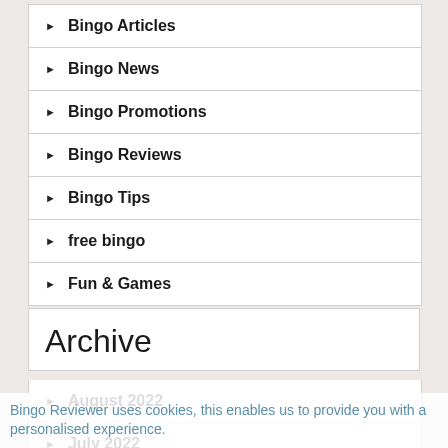▶ Bingo Articles
▶ Bingo News
▶ Bingo Promotions
▶ Bingo Reviews
▶ Bingo Tips
▶ free bingo
▶ Fun & Games
Archive
▶ August 2022
▶ July 2022
▶ June 2022
▶ May 2022
Bingo Reviewer uses cookies, this enables us to provide you with a personalised experience.